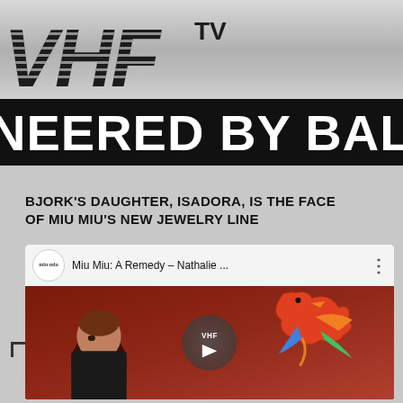[Figure (logo): VHF TV logo on silver metallic background with italic bold striped letters and TV superscript]
NEERED BY BALEN
BJORK'S DAUGHTER, ISADORA, IS THE FACE OF MIU MIU'S NEW JEWELRY LINE
[Figure (screenshot): YouTube-style video thumbnail showing Miu Miu: A Remedy - Nathalie ... with Miu Miu channel icon, three-dot menu, and video still of young person with bird puppet on reddish-brown background with VHF play button overlay]